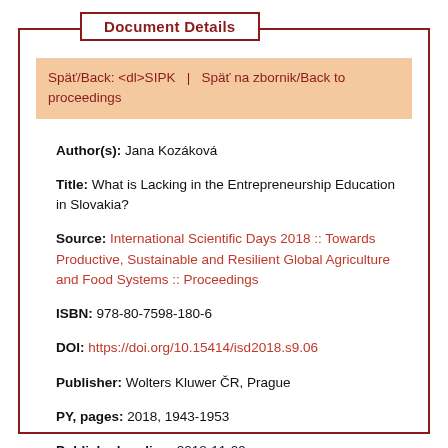Document Details
Späť/Back: <dl>SIPK   |   Späť na zbornik/Back to proceedings
Author(s): Jana Kozáková
Title: What is Lacking in the Entrepreneurship Education in Slovakia?
Source: International Scientific Days 2018 :: Towards Productive, Sustainable and Resilient Global Agriculture and Food Systems :: Proceedings
ISBN: 978-80-7598-180-6
DOI: https://doi.org/10.15414/isd2018.s9.06
Publisher: Wolters Kluwer ČR, Prague
PY, pages: 2018, 1943-1953
Published on-line: 2018-11-09